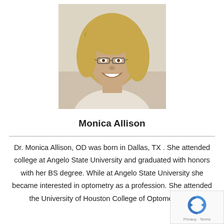[Figure (photo): Portrait photo of Monica Allison, a woman with blonde hair and glasses, smiling]
Monica Allison
Dr. Monica Allison, OD was born in Dallas, TX . She attended college at Angelo State University and graduated with honors with her BS degree. While at Angelo State University she became interested in optometry as a profession. She attended the University of Houston College of Optometry and